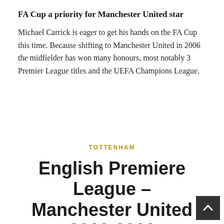FA Cup a priority for Manchester United star
Michael Carrick is eager to get his hands on the FA Cup this time. Because shifting to Manchester United in 2006 the midfielder has won many honours, most notably 3 Premier League titles and the UEFA Champions League.
TOTTENHAM
English Premiere League – Manchester United 2010-2011